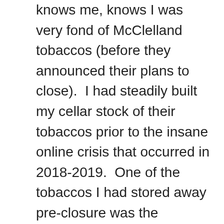knows me, knows I was very fond of McClelland tobaccos (before they announced their plans to close).  I had steadily built my cellar stock of their tobaccos prior to the insane online crisis that occurred in 2018-2019.  One of the tobaccos I had stored away pre-closure was the McClelland 221B Series Arcadia.  In fact, I managed to purchase several of these tins with, at the time, 8-10 years of age on them.  Now, those tins are 15-20 years old and showing the value of their contents.  McClelland Arcadia is an easy burning sweet and sour Oriental blend that shows notes of dark fruits, earthy woods, black coffee, and herbal spice.  Each bowl of this fantastic tobacco only reminds me that all good things...